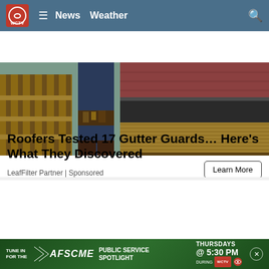WCTV News Weather
[Figure (photo): Person working on roof gutters, cleaning or installing gutter guard on a residential home]
Roofers Tested 17 Gutter Guards… Here's What They Discovered
LeafFilter Partner | Sponsored
Learn More
[Figure (photo): Worker on a sloped shingle roof using a power tool, with trees visible in background]
TUNE IN FOR THE AFSCME PUBLIC SERVICE SPOTLIGHT THURSDAYS @ 5:30 PM DURING WCTV